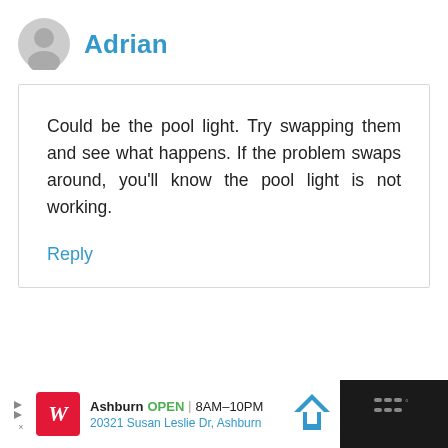Adrian
Could be the pool light. Try swapping them and see what happens. If the problem swaps around, you'll know the pool light is not working.
Reply
[Figure (infographic): Advertisement bar: Walgreens logo, Ashburn OPEN 8AM-10PM, 20321 Susan Leslie Dr, Ashburn, navigation arrow icon, dark panel with menu icon]